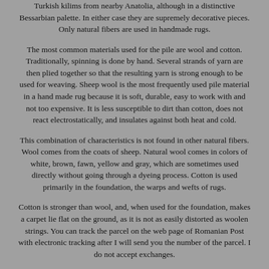Turkish kilims from nearby Anatolia, although in a distinctive Bessarbian palette. In either case they are supremely decorative pieces. Only natural fibers are used in handmade rugs.
The most common materials used for the pile are wool and cotton. Traditionally, spinning is done by hand. Several strands of yarn are then plied together so that the resulting yarn is strong enough to be used for weaving. Sheep wool is the most frequently used pile material in a hand made rug because it is soft, durable, easy to work with and not too expensive. It is less susceptible to dirt than cotton, does not react electrostatically, and insulates against both heat and cold.
This combination of characteristics is not found in other natural fibers. Wool comes from the coats of sheep. Natural wool comes in colors of white, brown, fawn, yellow and gray, which are sometimes used directly without going through a dyeing process. Cotton is used primarily in the foundation, the warps and wefts of rugs.
Cotton is stronger than wool, and, when used for the foundation, makes a carpet lie flat on the ground, as it is not as easily distorted as woolen strings. You can track the parcel on the web page of Romanian Post with electronic tracking after I will send you the number of the parcel. I do not accept exchanges.
I don't accept cancellations b. Ut please contact me if you have any problems with your order. Be a pleasure to reply to you as